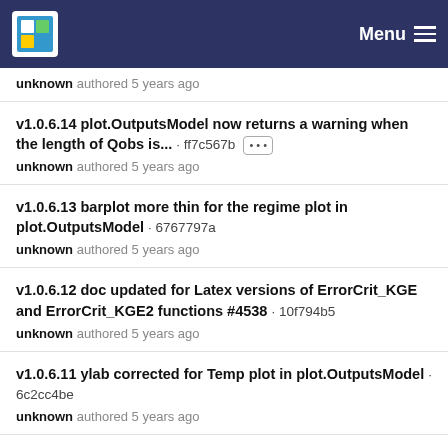Menu
unknown authored 5 years ago
v1.0.6.14 plot.OutputsModel now returns a warning when the length of Qobs is... · ff7c567b
unknown authored 5 years ago
v1.0.6.13 barplot more thin for the regime plot in plot.OutputsModel · 6767797a
unknown authored 5 years ago
v1.0.6.12 doc updated for Latex versions of ErrorCrit_KGE and ErrorCrit_KGE2 functions #4538 · 10f794b5
unknown authored 5 years ago
v1.0.6.11 ylab corrected for Temp plot in plot.OutputsModel · 6c2cc4be
unknown authored 5 years ago
v1.0.6.10 doc updated for Latex versions of ErrorCrit_KGE and ErrorCrit_KGE2 functions #4538 · d09859b7